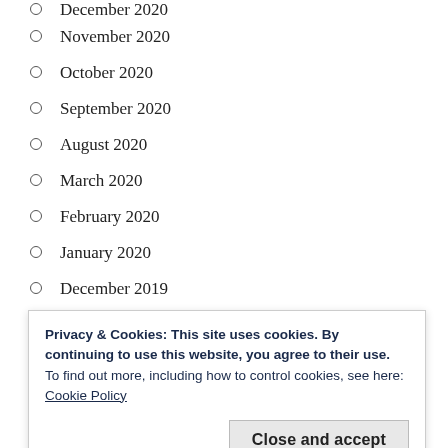December 2020
November 2020
October 2020
September 2020
August 2020
March 2020
February 2020
January 2020
December 2019
November 2019
October 2019
September 2019
August 2019
Privacy & Cookies: This site uses cookies. By continuing to use this website, you agree to their use.
To find out more, including how to control cookies, see here: Cookie Policy
Close and accept